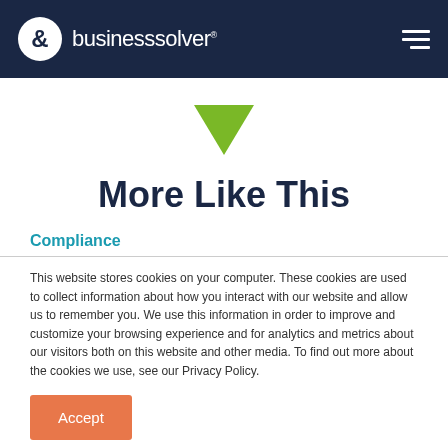businesssolver
[Figure (illustration): Green downward-pointing triangle/arrow icon]
More Like This
Compliance
This website stores cookies on your computer. These cookies are used to collect information about how you interact with our website and allow us to remember you. We use this information in order to improve and customize your browsing experience and for analytics and metrics about our visitors both on this website and other media. To find out more about the cookies we use, see our Privacy Policy.
Accept